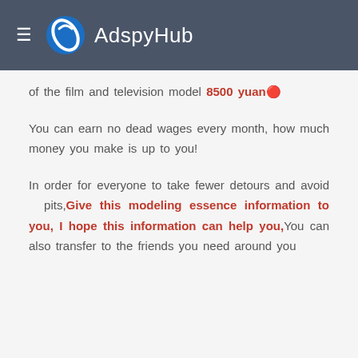AdspyHub
of the film and television model 8500 yuan🔴
You can earn no dead wages every month, how much money you make is up to you!
In order for everyone to take fewer detours and avoid pits,Give this modeling essence information to you, I hope this information can help you,You can also transfer to the friends you need around you